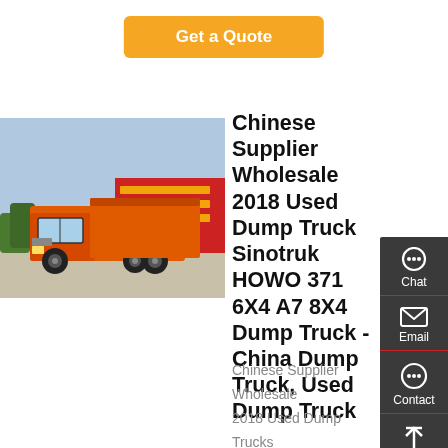Get a Quote
[Figure (photo): Orange Sinotruk HOWO dump truck parked outdoors with Chinese signage in background]
Chinese Supplier Wholesale 2018 Used Dump Truck Sinotruk HOWO 371 6X4 A7 8X4 Dump Truck - China Dump Truck, Used Dump Truck
Chinese Supplier Wholesale
2018 Used Dump Trucks
Sinotruk HOWO 371 6X4 A7 8X4
Dump Truck, Find details about
China Dump Truck, Used Dump